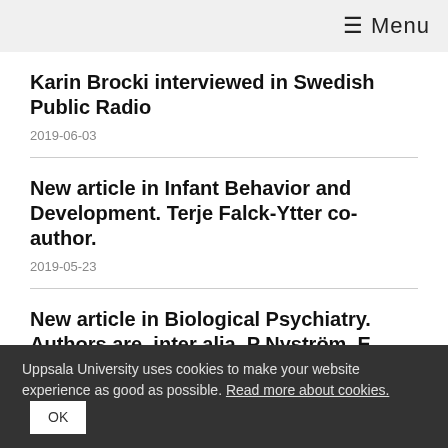≡ Menu
Karin Brocki interviewed in Swedish Public Radio
2019-06-03
New article in Infant Behavior and Development. Terje Falck-Ytter co-author.
2019-05-23
New article in Biological Psychiatry. Authors are, inter alia, P Nyström, E Thorup and T Falck-Ytter. The article is highlighted by UNT and UU.
Uppsala University uses cookies to make your website experience as good as possible. Read more about cookies. OK